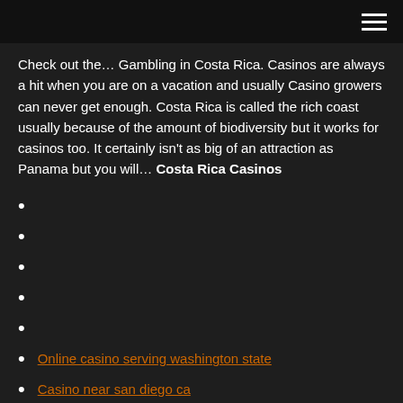Check out the… Gambling in Costa Rica. Casinos are always a hit when you are on a vacation and usually Casino growers can never get enough. Costa Rica is called the rich coast usually because of the amount of biodiversity but it works for casinos too. It certainly isn't as big of an attraction as Panama but you will… Costa Rica Casinos
Online casino serving washington state
Casino near san diego ca
Slot machine whales of cash